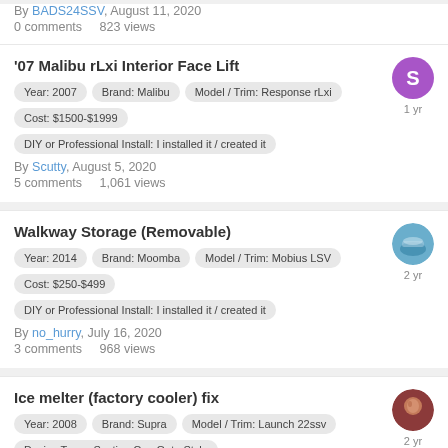By BADS24SSV, August 11, 2020
0 comments   823 views
'07 Malibu rLxi Interior Face Lift
Year: 2007   Brand: Malibu   Model / Trim: Response rLxi   Cost: $1500-$1999   DIY or Professional Install: I installed it / created it
By Scutty, August 5, 2020
5 comments   1,061 views
Walkway Storage (Removable)
Year: 2014   Brand: Moomba   Model / Trim: Mobius LSV   Cost: $250-$499   DIY or Professional Install: I installed it / created it
By no_hurry, July 16, 2020
3 comments   968 views
Ice melter (factory cooler) fix
Year: 2008   Brand: Supra   Model / Trim: Launch 22ssv   Device Type : Suction Cup Gate Style   Surf Device Material: (unspecified)   Control: Unspecified